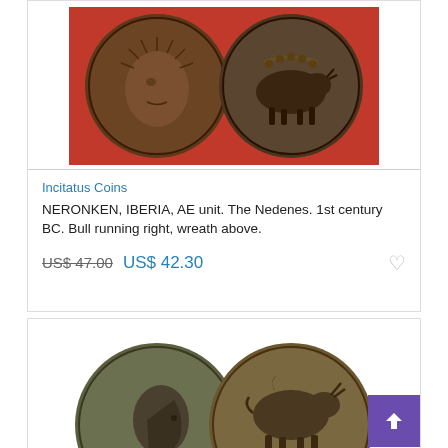[Figure (photo): Two ancient bronze coins of NERONKEN IBERIA on a red background — obverse showing a head with radiating lines, reverse showing a bull running right with a wreath above]
Incitatus Coins
NERONKEN, IBERIA, AE unit. The Nedenes. 1st century BC. Bull running right, wreath above.
US$ 47.00 US$ 42.30
[Figure (photo): Two ancient bronze coins — obverse showing a portrait bust facing right, reverse showing a bull with inscription KOTY below]
Ken Dorney